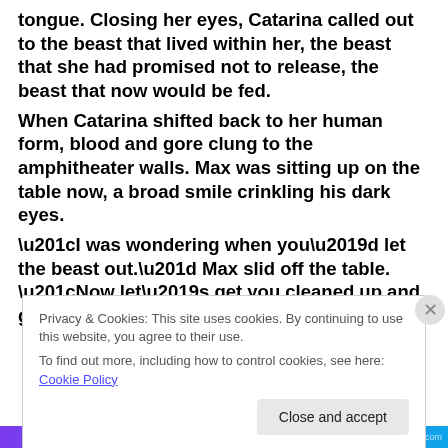tongue. Closing her eyes, Catarina called out to the beast that lived within her, the beast that she had promised not to release, the beast that now would be fed.
When Catarina shifted back to her human form, blood and gore clung to the amphitheater walls. Max was sitting up on the table now, a broad smile crinkling his dark eyes.
“I was wondering when you’d let the beast out.” Max slid off the table. “Now let’s get you cleaned up and get out of here.”
Privacy & Cookies: This site uses cookies. By continuing to use this website, you agree to their use.
To find out more, including how to control cookies, see here: Cookie Policy
Close and accept